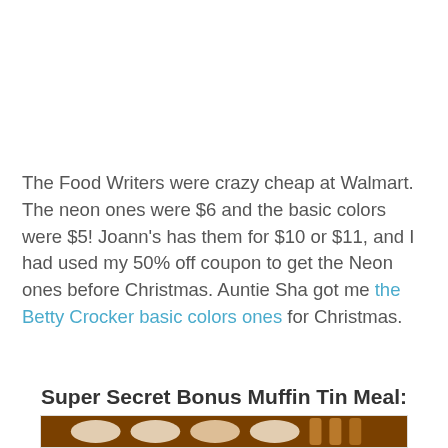The Food Writers were crazy cheap at Walmart. The neon ones were $6 and the basic colors were $5! Joann's has them for $10 or $11, and I had used my 50% off coupon to get the Neon ones before Christmas. Auntie Sha got me the Betty Crocker basic colors ones for Christmas.
Super Secret Bonus Muffin Tin Meal:
[Figure (photo): Photo of food items in a muffin tin, partially visible at the bottom of the page]